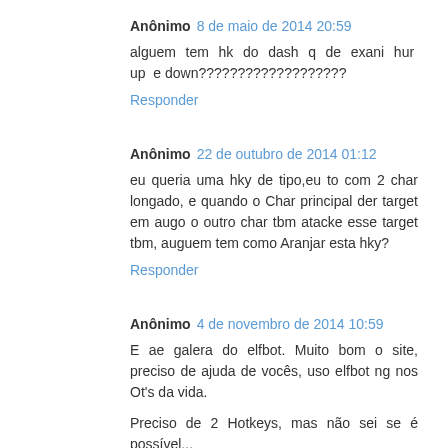Anônimo 8 de maio de 2014 20:59
alguem tem hk do dash q de exani hur up e down???????????????????
Responder
Anônimo 22 de outubro de 2014 01:12
eu queria uma hky de tipo,eu to com 2 char longado, e quando o Char principal der target em augo o outro char tbm atacke esse target tbm, auguem tem como Aranjar esta hky?
Responder
Anônimo 4 de novembro de 2014 10:59
E ae galera do elfbot. Muito bom o site, preciso de ajuda de vocês, uso elfbot ng nos Ot's da vida.
Preciso de 2 Hotkeys, mas não sei se é possível...